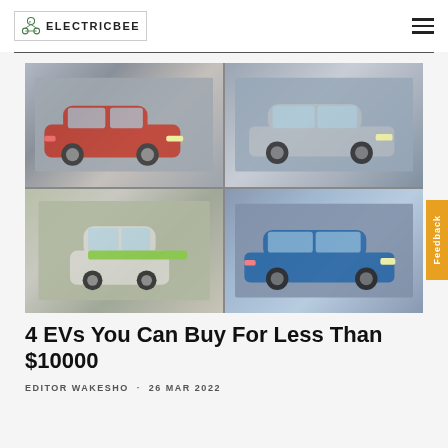ELECTRICBEE
[Figure (photo): 2x2 grid of electric vehicles: top-left red Fiat 500e driving on city street, top-right silver Toyota Prius plug-in parked near building, bottom-left white Smart Electric Drive two-seater with green accents, bottom-right blue Chevrolet Volt parked on street]
4 EVs You Can Buy For Less Than $10000
EDITOR WAKESHO · 26 MAR 2022